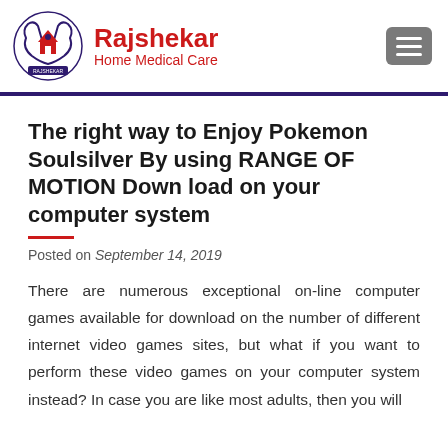Rajshekar Home Medical Care
The right way to Enjoy Pokemon Soulsilver By using RANGE OF MOTION Down load on your computer system
Posted on September 14, 2019
There are numerous exceptional on-line computer games available for download on the number of different internet video games sites, but what if you want to perform these video games on your computer system instead? In case you are like most adults, then you will